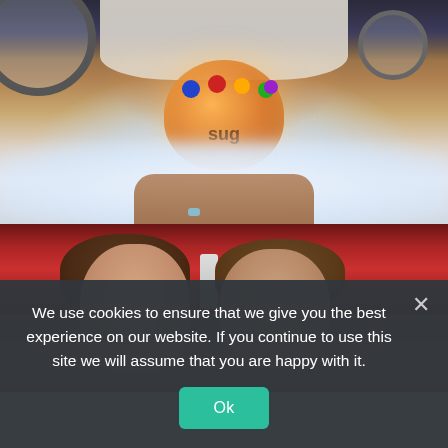[Figure (photo): Person holding a large orange drink/punch bowl with colorful candy decorations and dry ice fog effect, set against a light background]
[Figure (photo): Two people (a woman and a man) seated in a restaurant with red booth seating in the background, smiling toward camera]
We use cookies to ensure that we give you the best experience on our website. If you continue to use this site we will assume that you are happy with it.